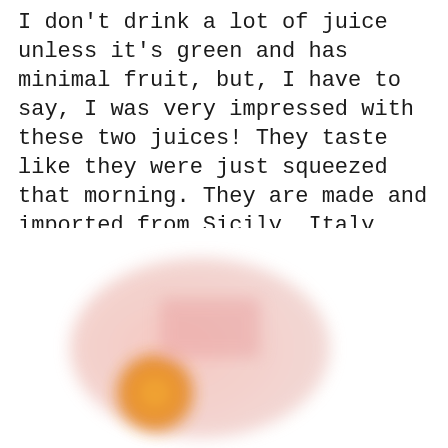I don't drink a lot of juice unless it's green and has minimal fruit, but, I have to say, I was very impressed with these two juices! They taste like they were just squeezed that morning. They are made and imported from Sicily, Italy, and, honestly, I couldn't stop drinking the little sample cups! Definitely a great find at the show! Click here to learn more.
[Figure (photo): Blurred photograph of two juice product bottles/containers, one showing a red-capped bottle and another with a pink label and orange circular element, appearing to be Sicilian fruit juice products.]